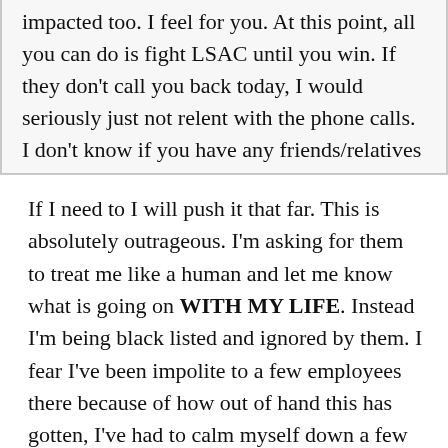impacted too. I feel for you. At this point, all you can do is fight LSAC until you win. If they don't call you back today, I would seriously just not relent with the phone calls. I don't know if you have any friends/relatives that are lawyers, but maybe have someone do you a favor and sign a letter for you to send to LSAC to get their attention? Just an idea.
If I need to I will push it that far. This is absolutely outrageous. I'm asking for them to treat me like a human and let me know what is going on WITH MY LIFE. Instead I'm being black listed and ignored by them. I fear I've been impolite to a few employees there because of how out of hand this has gotten, I've had to calm myself down a few times already.